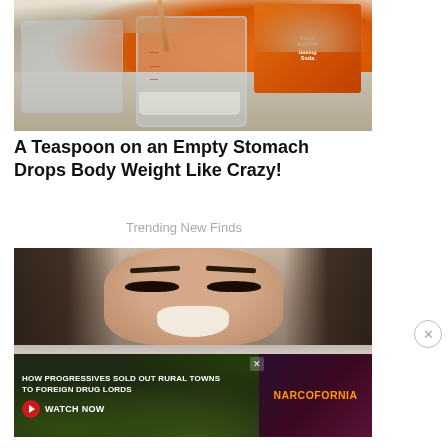[Figure (photo): Person holding a wooden spoon and an orange Arm & Hammer Baking Soda box next to a glass jar on a counter]
A Teaspoon on an Empty Stomach Drops Body Weight Like Crazy!
Trending New Finds
[Figure (photo): Close-up of a woman's face with a white nose mask or strip applied]
[Figure (infographic): Advertisement banner: HOW PROGRESSIVES SOLD OUT RURAL TOWNS TO FOREIGN DRUG LORDS — WATCH NOW — NARCOFORNIA]